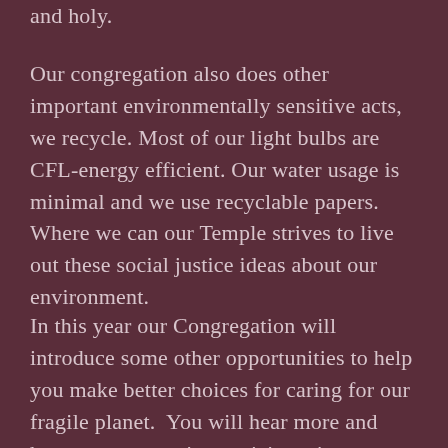and holy.
Our congregation also does other important environmentally sensitive acts, we recycle. Most of our light bulbs are CFL-energy efficient. Our water usage is minimal and we use recyclable papers. Where we can our Temple strives to live out these social justice ideas about our environment.
In this year our Congregation will introduce some other opportunities to help you make better choices for caring for our fragile planet.  You will hear more and have an opportunity participate in our Community Sustained Agriculture Project. You will